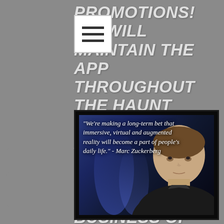PROMOTIONS! WE WILL MAINTAIN THE APP THROUGHOUT THE HAUNT SEASON, ALLOWING YOU TO CONCENTRATE ON THE SEROUS BUSINESS OF SCARING YOUR GUESTS!
[Figure (photo): Photo of Mark Zuckerberg with a quote overlay: "We're making a long-term bet that immersive, virtual and augmented reality will become a part of people's daily life." - Marc Zuckerberg]